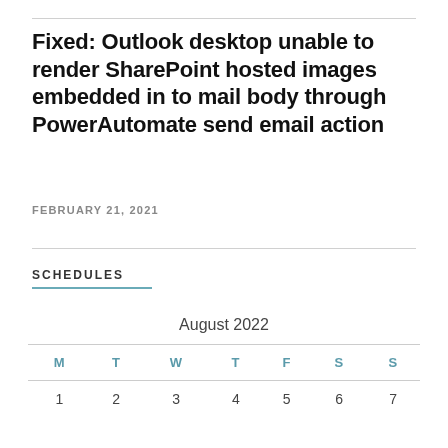Fixed: Outlook desktop unable to render SharePoint hosted images embedded in to mail body through PowerAutomate send email action
FEBRUARY 21, 2021
SCHEDULES
August 2022
| M | T | W | T | F | S | S |
| --- | --- | --- | --- | --- | --- | --- |
| 1 | 2 | 3 | 4 | 5 | 6 | 7 |